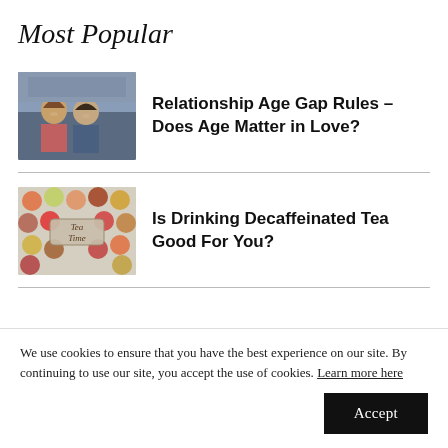Most Popular
[Figure (photo): A couple sitting together at what appears to be a sports event, smiling.]
Relationship Age Gap Rules – Does Age Matter in Love?
[Figure (photo): Colorful assortment of teas in cups and loose leaf, with a 'Tea Time' label in the center.]
Is Drinking Decaffeinated Tea Good For You?
We use cookies to ensure that you have the best experience on our site. By continuing to use our site, you accept the use of cookies. Learn more here